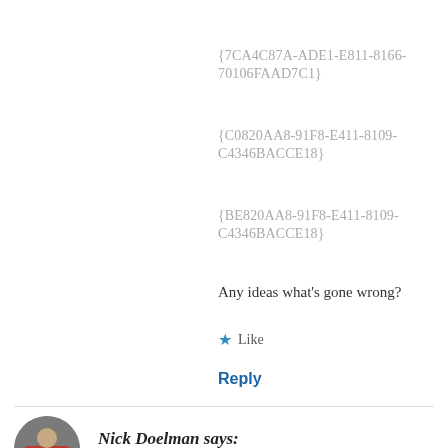{7CA4C87A-ADE1-E811-8166-70106FAAD7C1}
{C0820AA8-91F8-E411-8109-C4346BACCE18}
{BE820AA8-91F8-E411-8109-C4346BACCE18}
Any ideas what’s gone wrong?
★ Like
Reply
Nick Doelman says:
March 30, 2020 at 9:59 am